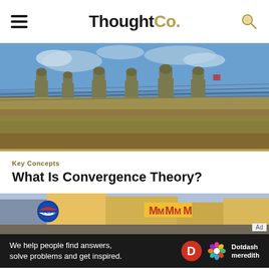ThoughtCo.
[Figure (photo): Soldiers in military gear and helmets walking through barbed wire in a desert environment with blue sky]
Key Concepts
What Is Convergence Theory?
[Figure (photo): City street scene with McDonald's sign, Pepsi sign, and other commercial signage]
Ad
We help people find answers, solve problems and get inspired. Dotdash meredith